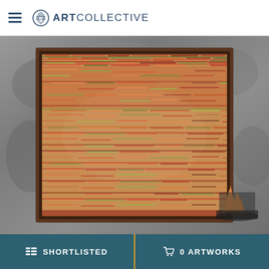ArtCollective - menu and logo header
[Figure (photo): A framed abstract artwork with dense horizontal brushstrokes in warm reds, oranges, yellows and olive greens, hanging on a textured grey concrete wall. Decorative copper/bronze geometric crystal objects visible in the bottom right corner.]
SHORTLISTED | 0 ARTWORKS